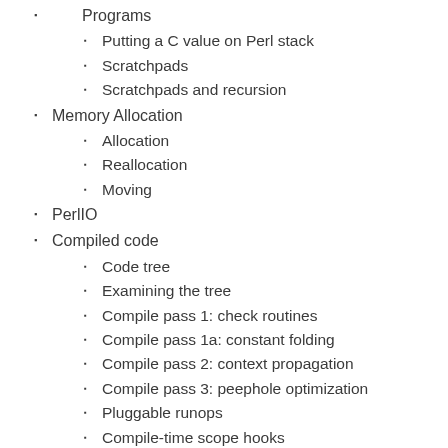Programs
Putting a C value on Perl stack
Scratchpads
Scratchpads and recursion
Memory Allocation
Allocation
Reallocation
Moving
PerlIO
Compiled code
Code tree
Examining the tree
Compile pass 1: check routines
Compile pass 1a: constant folding
Compile pass 2: context propagation
Compile pass 3: peephole optimization
Pluggable runops
Compile-time scope hooks
Examining internal data structures with the dump functions
How multiple interpreters and concurrency are